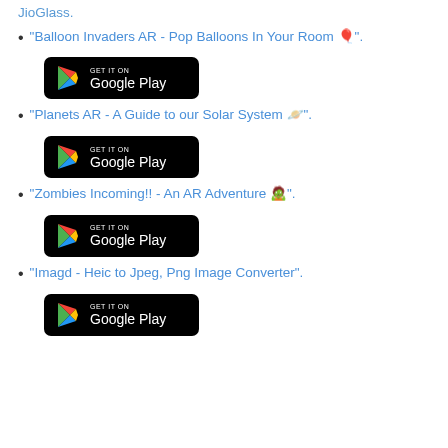JioGlass.
"Balloon Invaders AR - Pop Balloons In Your Room 🎈".
[Figure (logo): Get it on Google Play button]
"Planets AR - A Guide to our Solar System 🪐".
[Figure (logo): Get it on Google Play button]
"Zombies Incoming!! - An AR Adventure 🧟".
[Figure (logo): Get it on Google Play button]
"Imagd - Heic to Jpeg, Png Image Converter".
[Figure (logo): Get it on Google Play button]